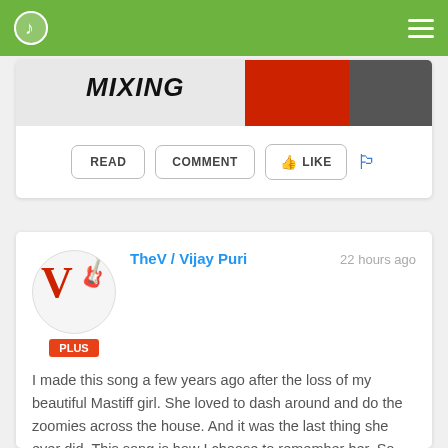Music app header with logo and menu
[Figure (screenshot): Partial banner image showing the word MIXING in bold italic with red and dark elements]
READ   COMMENT   LIKE
TheV / Vijay Puri   22 hours ago

I made this song a few years ago after the loss of my beautiful Mastiff girl. She loved to dash around and do the zoomies across the house. And it was the last thing she ever did. This song is how I choose to remember her. So here it is; "Febe's Last Dash".

This is an all instrumental guitar rock song. The timing is weird and lovely, just like she was, but I wonder if I could get